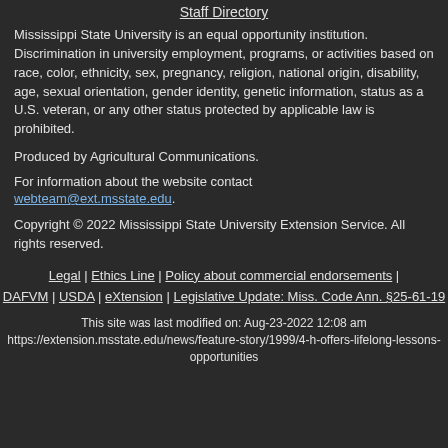Staff Directory
Mississippi State University is an equal opportunity institution. Discrimination in university employment, programs, or activities based on race, color, ethnicity, sex, pregnancy, religion, national origin, disability, age, sexual orientation, gender identity, genetic information, status as a U.S. veteran, or any other status protected by applicable law is prohibited.
Produced by Agricultural Communications.
For information about the website contact webteam@ext.msstate.edu.
Copyright © 2022 Mississippi State University Extension Service. All rights reserved.
Legal | Ethics Line | Policy about commercial endorsements | DAFVM | USDA | eXtension | Legislative Update: Miss. Code Ann. §25-61-19
This site was last modified on: Aug-23-2022 12:08 am https://extension.msstate.edu/news/feature-story/1999/4-h-offers-lifelong-lessons-opportunities